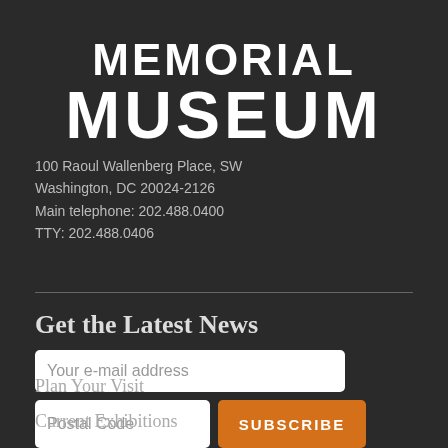MEMORIAL MUSEUM
100 Raoul Wallenberg Place, SW
Washington, DC 20024-2126
Main telephone: 202.488.0400
TTY: 202.488.0406
Get the Latest News
Your e-mail address
Postal Code
SUBSCRIBE
Plan Your Visit
Current Exhibitions
Schedule of Events